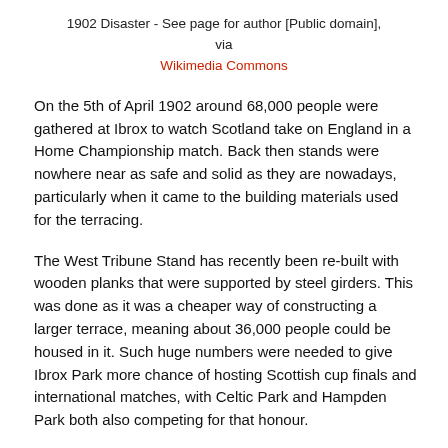1902 Disaster - See page for author [Public domain], via Wikimedia Commons
On the 5th of April 1902 around 68,000 people were gathered at Ibrox to watch Scotland take on England in a Home Championship match. Back then stands were nowhere near as safe and solid as they are nowadays, particularly when it came to the building materials used for the terracing.
The West Tribune Stand has recently been re-built with wooden planks that were supported by steel girders. This was done as it was a cheaper way of constructing a larger terrace, meaning about 36,000 people could be housed in it. Such huge numbers were needed to give Ibrox Park more chance of hosting Scottish cup finals and international matches, with Celtic Park and Hampden Park both also competing for that honour.